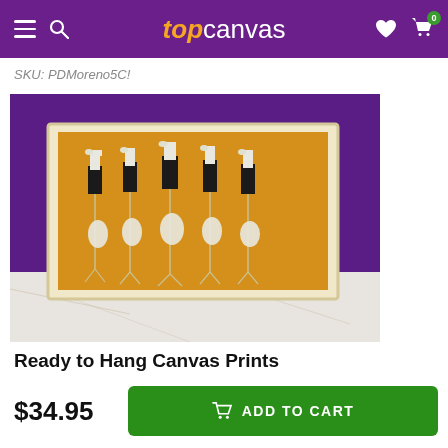topcanvas
SKU: PDMoreno5C!
[Figure (photo): Canvas print leaning against a purple wall on a marble surface, showing an illustration of five cranes on a golden-yellow background]
Ready to Hang Canvas Prints
$34.95
ADD TO CART